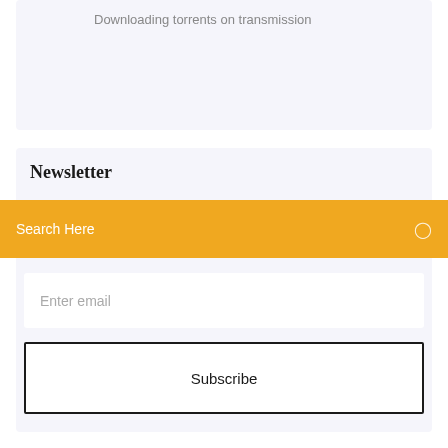Downloading torrents on transmission
Newsletter
Search Here
Enter email
Subscribe